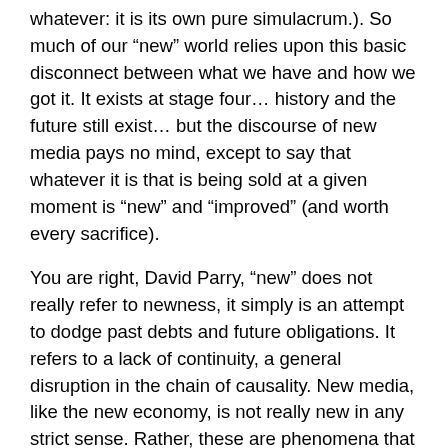whatever: it is its own pure simulacrum.). So much of our “new” world relies upon this basic disconnect between what we have and how we got it. It exists at stage four… history and the future still exist… but the discourse of new media pays no mind, except to say that whatever it is that is being sold at a given moment is “new” and “improved” (and worth every sacrifice).
You are right, David Parry, “new” does not really refer to newness, it simply is an attempt to dodge past debts and future obligations. It refers to a lack of continuity, a general disruption in the chain of causality. New media, like the new economy, is not really new in any strict sense. Rather, these are phenomena that are to be understood as phenomena that exist outside of the long chain of history and progress that we associate with the humanist tradition.
Great article!